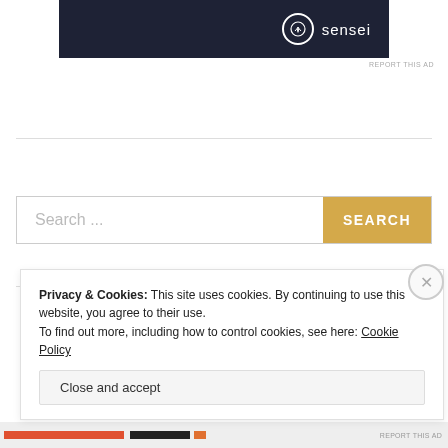[Figure (logo): Sensei brand logo on dark navy background with tree icon in circle]
REPORT THIS AD
Search ...
SEARCH
Advertisements
Privacy & Cookies: This site uses cookies. By continuing to use this website, you agree to their use.
To find out more, including how to control cookies, see here: Cookie Policy
Close and accept